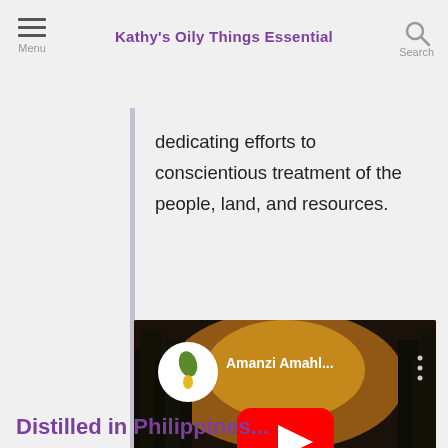Kathy's Oily Things Essential
dedicating efforts to conscientious treatment of the people, land, and resources.
[Figure (screenshot): YouTube video embed thumbnail showing a forest/nature scene at sunrise with a YouTube play button overlay. Video title shown: 'Amanzi Amahl...' with a YouTube channel logo (green leaf and yellow drop on white circle). Text overlay at bottom reads 'AMANZI AMAHLE FROM A DISTILLERY'.]
Distilled in Philippines...